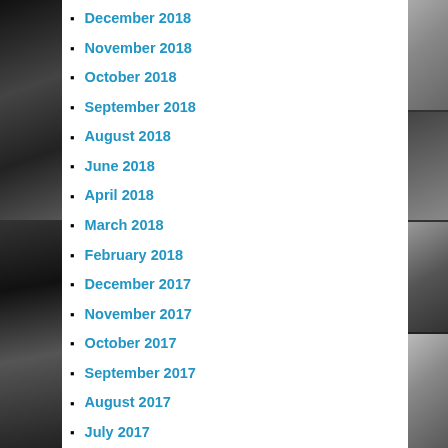December 2018
November 2018
October 2018
September 2018
August 2018
June 2018
April 2018
March 2018
February 2018
December 2017
November 2017
October 2017
September 2017
August 2017
July 2017
June 2017
May 2017
April 2017
March 2017
February 2017
January 2017
December 2016